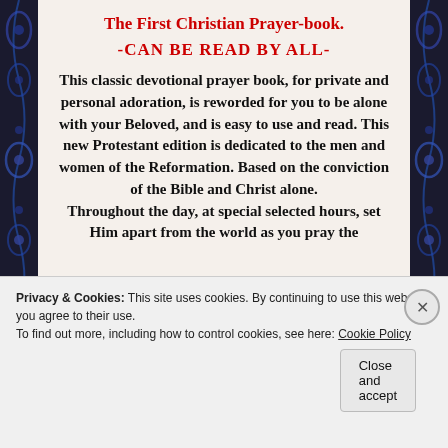The First Christian Prayer-book.
-CAN BE READ BY ALL-
This classic devotional prayer book, for private and personal adoration, is reworded for you to be alone with your Beloved, and is easy to use and read. This new Protestant edition is dedicated to the men and women of the Reformation. Based on the conviction of the Bible and Christ alone. Throughout the day, at special selected hours, set Him apart from the world as you pray the
Privacy & Cookies: This site uses cookies. By continuing to use this website, you agree to their use.
To find out more, including how to control cookies, see here: Cookie Policy
Close and accept